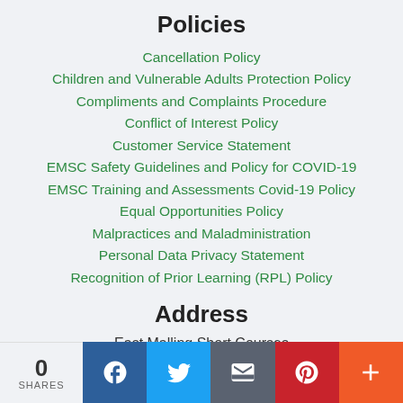Policies
Cancellation Policy
Children and Vulnerable Adults Protection Policy
Compliments and Complaints Procedure
Conflict of Interest Policy
Customer Service Statement
EMSC Safety Guidelines and Policy for COVID-19
EMSC Training and Assessments Covid-19 Policy
Equal Opportunities Policy
Malpractices and Maladministration
Personal Data Privacy Statement
Recognition of Prior Learning (RPL) Policy
Address
East Malling Short Courses